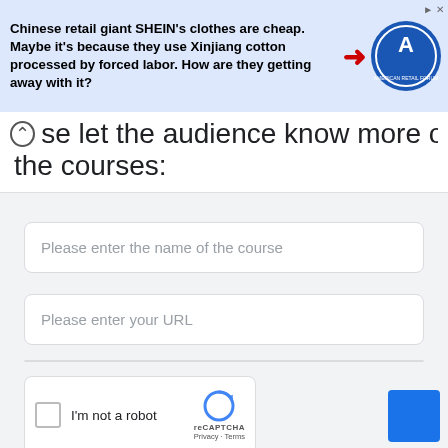[Figure (screenshot): Advertisement banner: 'Chinese retail giant SHEIN's clothes are cheap. Maybe it's because they use Xinjiang cotton processed by forced labor. How are they getting away with it?' with a red arrow pointing to a circular logo on blue background.]
se let the audience know more of the courses:
Please enter the name of the course
Please enter your URL
I'm not a robot
reCAPTCHA
Privacy · Terms